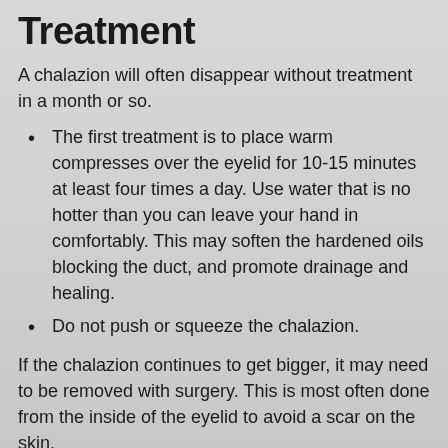Treatment
A chalazion will often disappear without treatment in a month or so.
The first treatment is to place warm compresses over the eyelid for 10-15 minutes at least four times a day. Use water that is no hotter than you can leave your hand in comfortably. This may soften the hardened oils blocking the duct, and promote drainage and healing.
Do not push or squeeze the chalazion.
If the chalazion continues to get bigger, it may need to be removed with surgery. This is most often done from the inside of the eyelid to avoid a scar on the skin.
Steroid injection is another treatment option.
Outlook (Prognosis)
Chalazia usually heal on their own. The outcome with